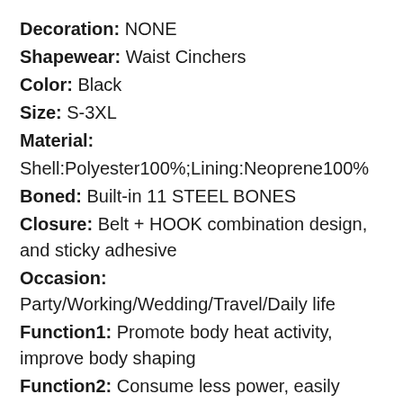Decoration: NONE
Shapewear: Waist Cinchers
Color: Black
Size: S-3XL
Material:
Shell:Polyester100%;Lining:Neoprene100%
Boned: Built-in 11 STEEL BONES
Closure: Belt + HOOK combination design, and sticky adhesive
Occasion: Party/Working/Wedding/Travel/Daily life
Function1: Promote body heat activity, improve body shaping
Function2: Consume less power, easily accelerate weight loss
Function3: Help burn more fat in the abdomen and let the body get a good sauna